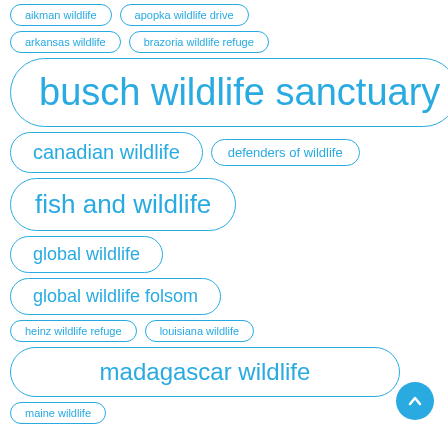aikman wildlife
apopka wildlife drive
arkansas wildlife
brazoria wildlife refuge
busch wildlife sanctuary
canadian wildlife
defenders of wildlife
fish and wildlife
global wildlife
global wildlife folsom
heinz wildlife refuge
louisiana wildlife
madagascar wildlife
maine wildlife